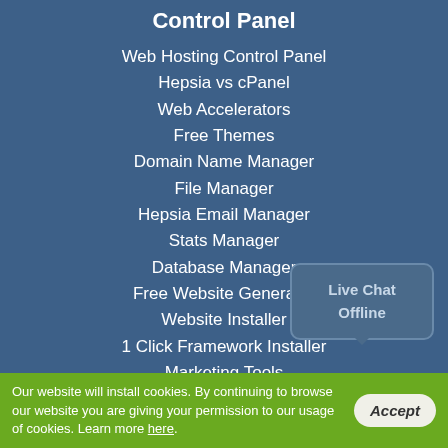Control Panel
Web Hosting Control Panel
Hepsia vs cPanel
Web Accelerators
Free Themes
Domain Name Manager
File Manager
Hepsia Email Manager
Stats Manager
Database Manager
Free Website Generator
Website Installer
1 Click Framework Installer
Marketing Tools
Advanced Tools
Support
[Figure (other): Live Chat Offline speech bubble widget]
Our website will install cookies. By continuing to browse our website you are giving your permission to our usage of cookies. Learn more here.